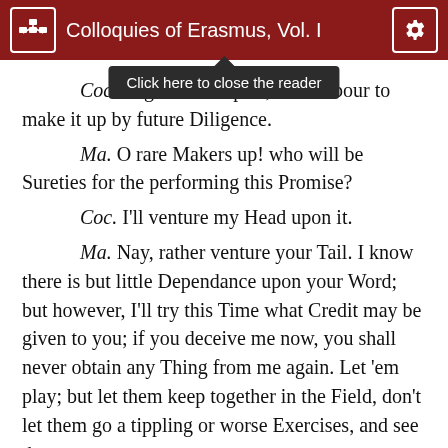Colloquies of Erasmus, Vol. I
Coc. I... ng in Times past, we'll labour to make it up by future Diligence.
Ma. O rare Makers up! who will be Sureties for the performing this Promise?
Coc. I'll venture my Head upon it.
Ma. Nay, rather venture your Tail. I know there is but little Dependance upon your Word; but however, I'll try this Time what Credit may be given to you; if you deceive me now, you shall never obtain any Thing from me again. Let 'em play; but let them keep together in the Field, don't let them go a tippling or worse Exercises, and see the...